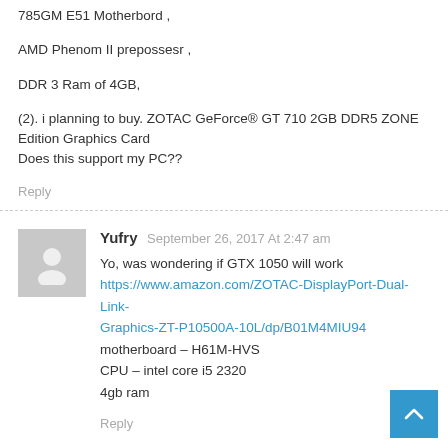785GM E51 Motherbord ,
AMD Phenom II prepossesr ,
DDR 3 Ram of 4GB,
(2). i planning to buy. ZOTAC GeForce® GT 710 2GB DDR5 ZONE Edition Graphics Card
Does this support my PC??
Reply
Yufry  September 26, 2017 At 2:47 am
Yo, was wondering if GTX 1050 will work
https://www.amazon.com/ZOTAC-DisplayPort-Dual-Link-Graphics-ZT-P10500A-10L/dp/B01M4MIU94
motherboard – H61M-HVS
CPU – intel core i5 2320
4gb ram
Reply